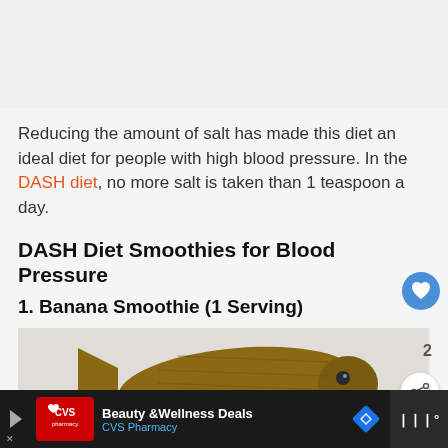Reducing the amount of salt has made this diet an ideal diet for people with high blood pressure. In the DASH diet, no more salt is taken than 1 teaspoon a day.
DASH Diet Smoothies for Blood Pressure
1. Banana Smoothie (1 Serving)
[Figure (photo): A wooden fish-shaped cutting board or decorative fish object on a light background]
[Figure (other): Advertisement banner: CVS Pharmacy - Beauty & Wellness Deals]